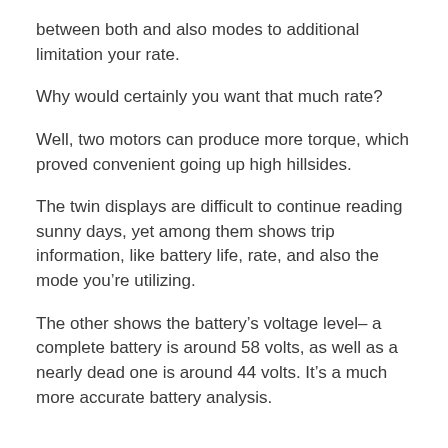between both and also modes to additional limitation your rate.
Why would certainly you want that much rate?
Well, two motors can produce more torque, which proved convenient going up high hillsides.
The twin displays are difficult to continue reading sunny days, yet among them shows trip information, like battery life, rate, and also the mode you’re utilizing.
The other shows the battery’s voltage level– a complete battery is around 58 volts, as well as a nearly dead one is around 44 volts. It’s a much more accurate battery analysis.